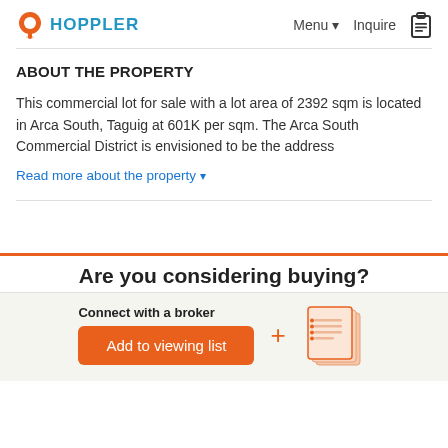HOPPLER   Menu ▾   Inquire
ABOUT THE PROPERTY
This commercial lot for sale with a lot area of 2392 sqm is located in Arca South, Taguig at 601K per sqm. The Arca South Commercial District is envisioned to be the address
Read more about the property ▾
Are you considering buying?
Connect with a broker
Add to viewing list